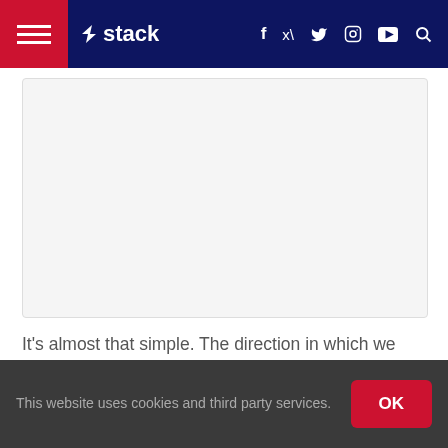Stack — navigation bar with hamburger menu, logo, social icons (f, twitter, instagram, youtube), and search
[Figure (other): Advertisement placeholder box (light gray, bordered)]
It's almost that simple. The direction in which we apply force and the rate we apply force are also important elements, but raw and robust strength levels are essential and very influential in determining current and potential speed performance.
Let's look at a few popular studies to confirm the need for higher levels of strength for improved sprint performance.
This website uses cookies and third party services.